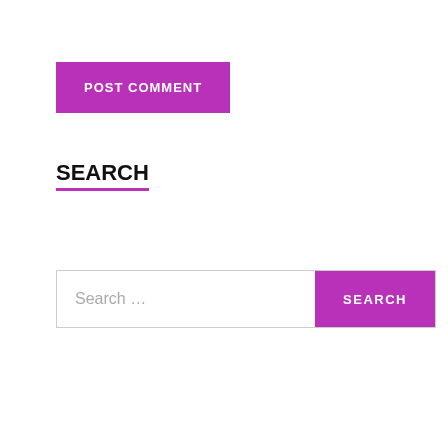[Figure (screenshot): Purple 'POST COMMENT' button]
SEARCH
[Figure (screenshot): Search input box with placeholder text 'Search...' and a purple 'SEARCH' button on the right]